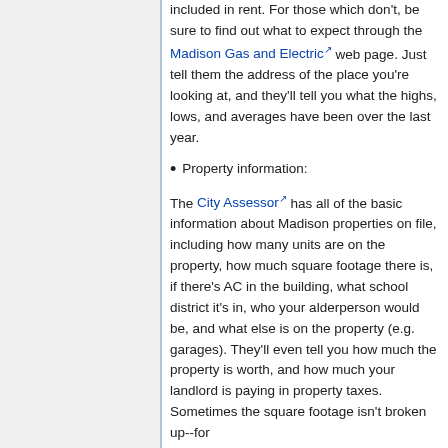included in rent. For those which don't, be sure to find out what to expect through the Madison Gas and Electric web page. Just tell them the address of the place you're looking at, and they'll tell you what the highs, lows, and averages have been over the last year.
Property information:
The City Assessor has all of the basic information about Madison properties on file, including how many units are on the property, how much square footage there is, if there's AC in the building, what school district it's in, who your alderperson would be, and what else is on the property (e.g. garages). They'll even tell you how much the property is worth, and how much your landlord is paying in property taxes. Sometimes the square footage isn't broken up--for